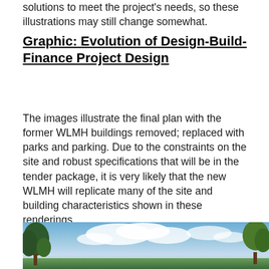solutions to meet the project's needs, so these illustrations may still change somewhat.
Graphic: Evolution of Design-Build-Finance Project Design
The images illustrate the final plan with the former WLMH buildings removed; replaced with parks and parking. Due to the constraints on the site and robust specifications that will be in the tender package, it is very likely that the new WLMH will replicate many of the site and building characteristics shown in these renderings.
[Figure (photo): Outdoor photo showing trees and sky with clouds, appears to be a site rendering or photograph of a landscape area.]